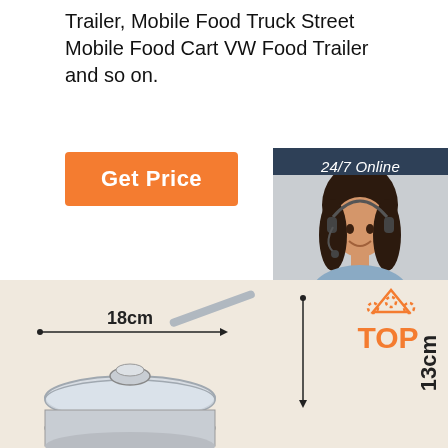Trailer, Mobile Food Truck Street Mobile Food Cart VW Food Trailer and so on.
[Figure (other): Orange 'Get Price' button]
[Figure (other): 24/7 Online customer service sidebar with woman wearing headset, 'Click here for free chat!' text, and orange QUOTATION button]
[Figure (other): Product image of stainless steel pot with glass lid on beige background, labeled 18cm width and 13cm height with TOP badge]